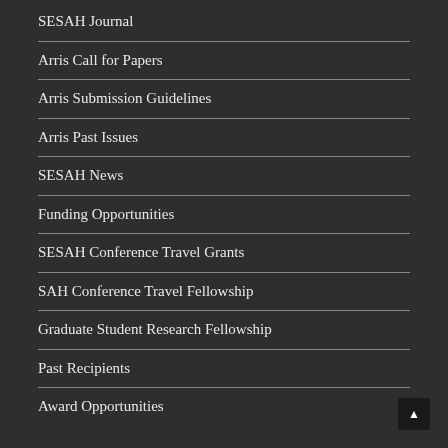SESAH Journal
Arris Call for Papers
Arris Submission Guidelines
Arris Past Issues
SESAH News
Funding Opportunities
SESAH Conference Travel Grants
SAH Conference Travel Fellowship
Graduate Student Research Fellowship
Past Recipients
Award Opportunities